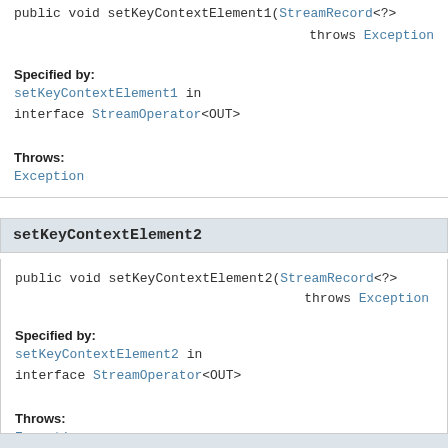public void setKeyContextElement1(StreamRecord<?> throws Exception
Specified by:
setKeyContextElement1 in interface StreamOperator<OUT>
Throws:
Exception
setKeyContextElement2
public void setKeyContextElement2(StreamRecord<?> throws Exception
Specified by:
setKeyContextElement2 in interface StreamOperator<OUT>
Throws:
Exception